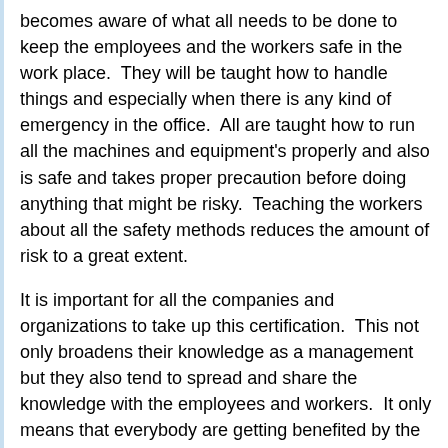becomes aware of what all needs to be done to keep the employees and the workers safe in the work place.  They will be taught how to handle things and especially when there is any kind of emergency in the office.  All are taught how to run all the machines and equipment's properly and also is safe and takes proper precaution before doing anything that might be risky.  Teaching the workers about all the safety methods reduces the amount of risk to a great extent.
It is important for all the companies and organizations to take up this certification.  This not only broadens their knowledge as a management but they also tend to spread and share the knowledge with the employees and workers.  It only means that everybody are getting benefited by the certification and slow one and all become aware of different methods and techniques that are available in the market which can be used for safety and precaution.  OHSAS 18001 certification is very beneficial and will always do one good and the companies are bound to get benefited by the certificate in keep the workers safe and getting more customers and clients.